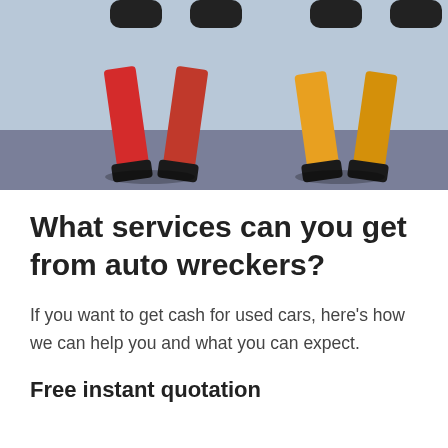[Figure (illustration): Illustration showing cartoon figures (one in red, one in yellow/orange) from the waist down, with tires visible at top, standing on a grey/blue ground surface — auto wreckers theme]
What services can you get from auto wreckers?
If you want to get cash for used cars, here’s how we can help you and what you can expect.
Free instant quotation